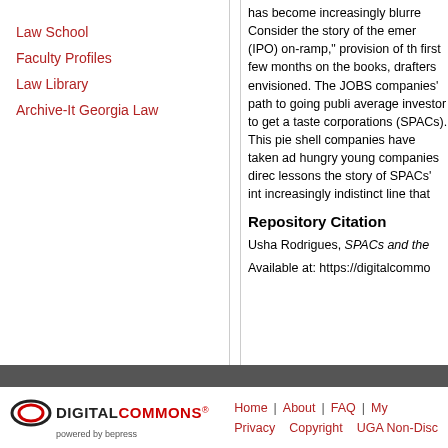Law School
Faculty Profiles
Law Library
Archive-It Georgia Law
has become increasingly blurr... Consider the story of the emer... (IPO) on-ramp," provision of th... first few months on the books,... drafters envisioned. The JOBS... companies' path to going publi... average investor to get a taste... corporations (SPACs). This pie... shell companies have taken ad... hungry young companies direc... lessons the story of SPACs' int... increasingly indistinct line that...
Repository Citation
Usha Rodrigues, SPACs and the...
Available at: https://digitalcommo...
DigitalCommons® powered by bepress | Home | About | FAQ | My... | Privacy | Copyright | UGA Non-Disc...